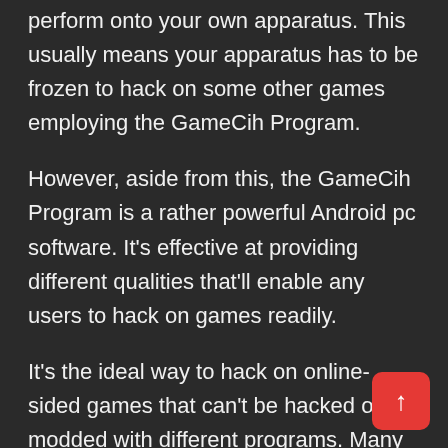perform onto your own apparatus. This usually means your apparatus has to be frozen to hack on some other games employing the GameCih Program.
However, aside from this, the GameCih Program is a rather powerful Android pc software. It's effective at providing different qualities that'll enable any users to hack on games readily.
It's the ideal way to hack on online-sided games that can't be hacked or modded with different programs. Many programmers alter the preferred games to perform in their servers that are private, which simulates the game having a first game host.
It gives control within the info stored on the mach... You're going to require an exceptional program with an alternative to...